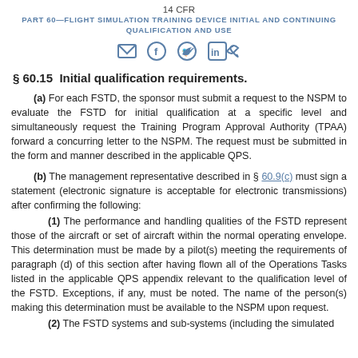14 CFR
PART 60—FLIGHT SIMULATION TRAINING DEVICE INITIAL AND CONTINUING QUALIFICATION AND USE
§ 60.15  Initial qualification requirements.
(a) For each FSTD, the sponsor must submit a request to the NSPM to evaluate the FSTD for initial qualification at a specific level and simultaneously request the Training Program Approval Authority (TPAA) forward a concurring letter to the NSPM. The request must be submitted in the form and manner described in the applicable QPS.
(b) The management representative described in § 60.9(c) must sign a statement (electronic signature is acceptable for electronic transmissions) after confirming the following:
(1) The performance and handling qualities of the FSTD represent those of the aircraft or set of aircraft within the normal operating envelope. This determination must be made by a pilot(s) meeting the requirements of paragraph (d) of this section after having flown all of the Operations Tasks listed in the applicable QPS appendix relevant to the qualification level of the FSTD. Exceptions, if any, must be noted. The name of the person(s) making this determination must be available to the NSPM upon request.
(2) The FSTD systems and sub-systems (including the simulated